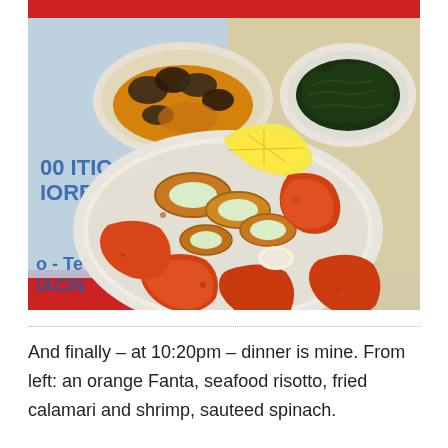[Figure (photo): A restaurant meal scene showing a white plate piled with fried calamari rings and shrimp with a lemon wedge in the center foreground. Behind it to the left is a bowl of seafood risotto with mussels and orange rice. To the upper right is a bowl of sauteed dark green spinach. The table has blue paper placemats with partial text visible.]
And finally – at 10:20pm – dinner is mine. From left: an orange Fanta, seafood risotto, fried calamari and shrimp, sauteed spinach.